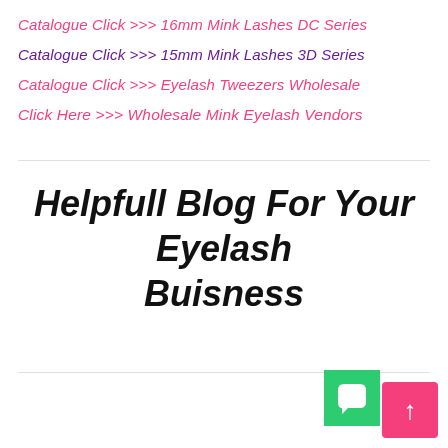Catalogue Click >>> 16mm Mink Lashes DC Series
Catalogue Click >>> 15mm Mink Lashes 3D Series
Catalogue Click >>> Eyelash Tweezers Wholesale
Click Here >>> Wholesale Mink Eyelash Vendors
Helpfull Blog For Your Eyelash Buisness